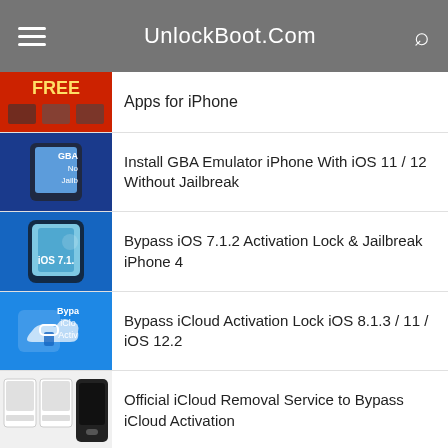UnlockBoot.Com
Apps for iPhone
Install GBA Emulator iPhone With iOS 11 / 12 Without Jailbreak
Bypass iOS 7.1.2 Activation Lock & Jailbreak iPhone 4
Bypass iCloud Activation Lock iOS 8.1.3 / 11 / iOS 12.2
Official iCloud Removal Service to Bypass iCloud Activation
iPhone is Disabled Error Fix Without iTunes